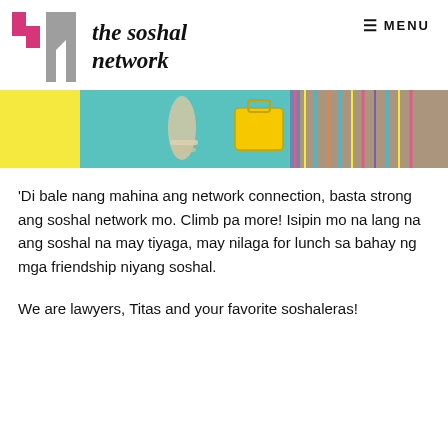the soshal network — MENU
[Figure (photo): Hero banner image showing colorful fashion items including a yellow bag and teal/blue clothing against a bright yellow background]
'Di bale nang mahina ang network connection, basta strong ang soshal network mo. Climb pa more! Isipin mo na lang na ang soshal na may tiyaga, may nilaga for lunch sa bahay ng mga friendship niyang soshal.
We are lawyers, Titas and your favorite soshaleras!